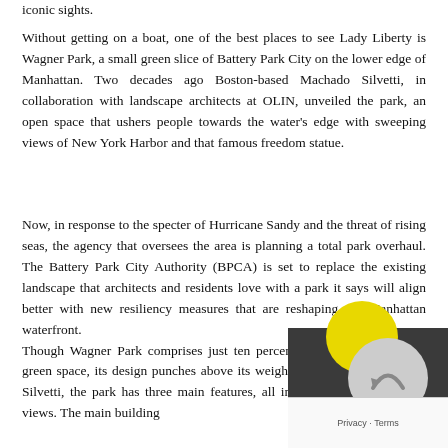iconic sights.
Without getting on a boat, one of the best places to see Lady Liberty is Wagner Park, a small green slice of Battery Park City on the lower edge of Manhattan. Two decades ago Boston-based Machado Silvetti, in collaboration with landscape architects at OLIN, unveiled the park, an open space that ushers people towards the water's edge with sweeping views of New York Harbor and that famous freedom statue.
Now, in response to the specter of Hurricane Sandy and the threat of rising seas, the agency that oversees the area is planning a total park overhaul. The Battery Park City Authority (BPCA) is set to replace the existing landscape that architects and residents love with a park it says will align better with new resiliency measures that are reshaping the Manhattan waterfront.
Though Wagner Park comprises just ten percent of Battery Park City's green space, its design punches above its weight. According to Machado Silvetti, the park has three main features, all in service of stellar water views. The main building